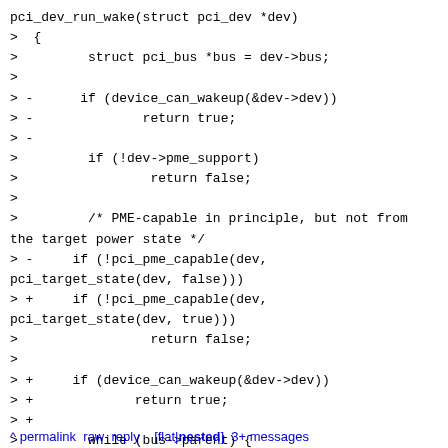pci_dev_run_wake(struct pci_dev *dev)
>  {
>         struct pci_bus *bus = dev->bus;
>
> -      if (device_can_wakeup(&dev->dev))
> -              return true;
> -
>         if (!dev->pme_support)
>                 return false;
>
>         /* PME-capable in principle, but not from the target power state */
> -     if (!pci_pme_capable(dev, pci_target_state(dev, false)))
> +     if (!pci_pme_capable(dev, pci_target_state(dev, true)))
>                 return false;
>
> +     if (device_can_wakeup(&dev->dev))
> +             return true;
> +
>         while (bus->parent) {
>                 struct pci_dev *bridge = bus->self;
>
> --
> 2.17.0
>
^ permalink  raw  reply    [flat|nested]  3+ messages